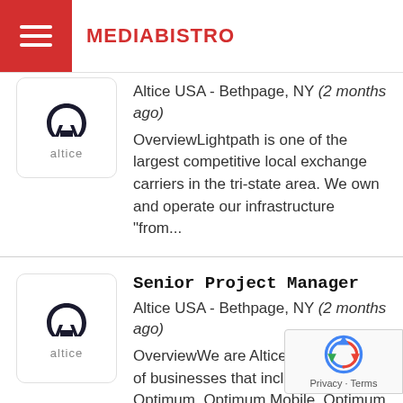MEDIABISTRO
Altice USA - Bethpage, NY (2 months ago) OverviewLightpath is one of the largest competitive local exchange carriers in the tri-state area. We own and operate our infrastructure "from...
Senior Project Manager
Altice USA - Bethpage, NY (2 months ago) OverviewWe are Altice USA; a family of businesses that includes Optimum, Optimum Mobile, Optimum Business, A4 advertising, Cheddar, and News12...